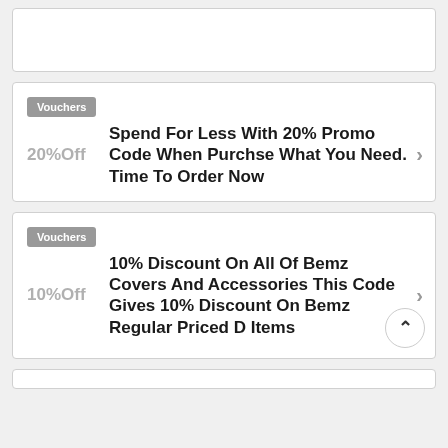[Figure (other): Top partial card visible at top of page]
Vouchers
20%Off
Spend For Less With 20% Promo Code When Purchse What You Need. Time To Order Now
Vouchers
10%Off
10% Discount On All Of Bemz Covers And Accessories This Code Gives 10% Discount On Bemz Regular Priced D Items